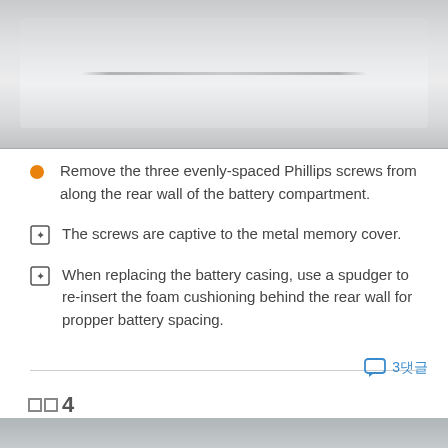[Figure (photo): Photo of a laptop battery compartment rear wall, showing a light gray surface with a recessed handle or groove line across the center.]
Remove the three evenly-spaced Phillips screws from along the rear wall of the battery compartment.
The screws are captive to the metal memory cover.
When replacing the battery casing, use a spudger to re-insert the foam cushioning behind the rear wall for propper battery spacing.
3댓글
단계 4
[Figure (photo): Bottom of page — partial photo showing top of next step image.]